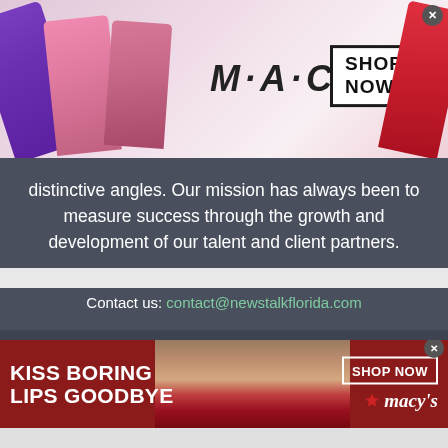[Figure (photo): MAC cosmetics advertisement banner showing colorful lipsticks (purple, pink, rose, red) with MAC logo and SHOP NOW box]
distinctive angles. Our mission has always been to measure success through the growth and development of our talent and client partners.
Contact us: contact@newstalkflorida.com
FOLLOW US
[Figure (infographic): Social media icons: Facebook, Instagram, Twitter in dark boxes]
[Figure (photo): Macy's advertisement banner: KISS BORING LIPS GOODBYE with woman's face and red lips, SHOP NOW button and Macy's logo]